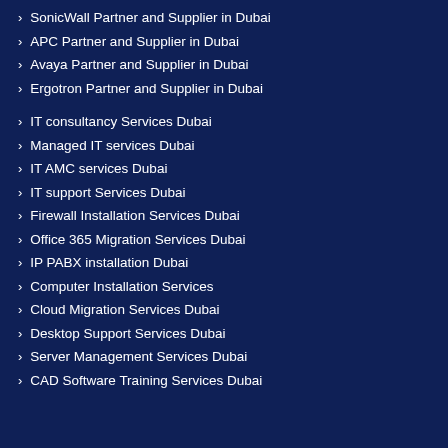SonicWall Partner and Supplier in Dubai
APC Partner and Supplier in Dubai
Avaya Partner and Supplier in Dubai
Ergotron Partner and Supplier in Dubai
IT consultancy Services Dubai
Managed IT services Dubai
IT AMC services Dubai
IT support Services Dubai
Firewall Installation Services Dubai
Office 365 Migration Services Dubai
IP PABX installation Dubai
Computer Installation Services
Cloud Migration Services Dubai
Desktop Support Services Dubai
Server Management Services Dubai
CAD Software Training Services Dubai